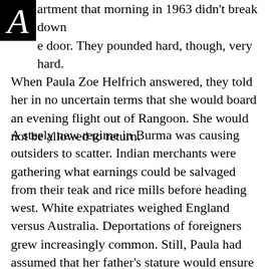artment that morning in 1963 didn't break down the door. They pounded hard, though, very hard. When Paula Zoe Helfrich answered, they told her in no uncertain terms that she would board an evening flight out of Rangoon. She would not be allowed to return.
A steely new regime in Burma was causing outsiders to scatter. Indian merchants were gathering what earnings could be salvaged from their teak and rice mills before heading west. White expatriates weighed England versus Australia. Deportations of foreigners grew increasingly common. Still, Paula had assumed that her father's stature would ensure her immunity. He had worked with the highest powers of Burma's postcolonial government; surely his 17-year-old daughter would skim above any discord like fat on milk.